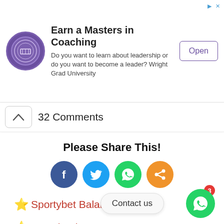[Figure (infographic): Advertisement banner: Wright Grad University - Earn a Masters in Coaching. Purple circular logo on left, text in center, Open button on right.]
32 Comments
Please Share This!
[Figure (infographic): Four social share icons: Facebook (dark blue), Twitter (light blue), WhatsApp (green), Share (orange)]
⭐ Sportybet Balance Adder
⭐ Download Xcaret1
Contact us